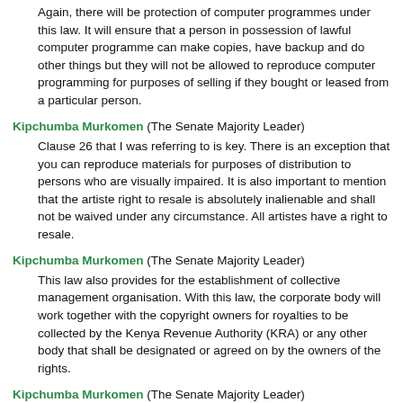Again, there will be protection of computer programmes under this law. It will ensure that a person in possession of lawful computer programme can make copies, have backup and do other things but they will not be allowed to reproduce computer programming for purposes of selling if they bought or leased from a particular person.
Kipchumba Murkomen (The Senate Majority Leader)
Clause 26 that I was referring to is key. There is an exception that you can reproduce materials for purposes of distribution to persons who are visually impaired. It is also important to mention that the artiste right to resale is absolutely inalienable and shall not be waived under any circumstance. All artistes have a right to resale.
Kipchumba Murkomen (The Senate Majority Leader)
This law also provides for the establishment of collective management organisation. With this law, the corporate body will work together with the copyright owners for royalties to be collected by the Kenya Revenue Authority (KRA) or any other body that shall be designated or agreed on by the owners of the rights.
Kipchumba Murkomen (The Senate Majority Leader)